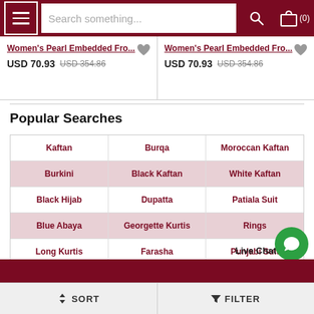Search something... (0)
Women's Pearl Embedded Fro... USD 70.93 USD 354.86 | Women's Pearl Embedded Fro... USD 70.93 USD 354.86
Popular Searches
| Kaftan | Burqa | Moroccan Kaftan |
| Burkini | Black Kaftan | White Kaftan |
| Black Hijab | Dupatta | Patiala Suit |
| Blue Abaya | Georgette Kurtis | Rings |
| Long Kurtis | Farasha | Punjabi Suit |
| Cotton Hijab | Anarkali Dress | Churidar Designs |
Live Chat
SORT   FILTER